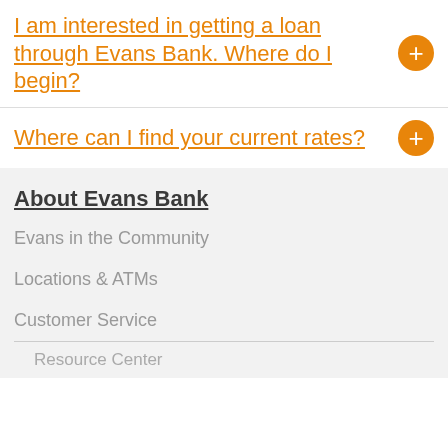I am interested in getting a loan through Evans Bank. Where do I begin?
Where can I find your current rates?
About Evans Bank
Evans in the Community
Locations & ATMs
Customer Service
Resource Center